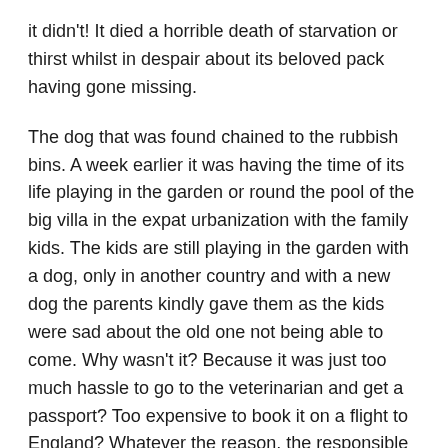it didn't! It died a horrible death of starvation or thirst whilst in despair about its beloved pack having gone missing.
The dog that was found chained to the rubbish bins. A week earlier it was having the time of its life playing in the garden or round the pool of the big villa in the expat urbanization with the family kids. The kids are still playing in the garden with a dog, only in another country and with a new dog the parents kindly gave them as the kids were sad about the old one not being able to come. Why wasn't it? Because it was just too much hassle to go to the veterinarian and get a passport? Too expensive to book it on a flight to England? Whatever the reason, the responsible adults chose the most vile and horrid solution of all. They took the dog out with the trash and left it there to die.
Redemption?